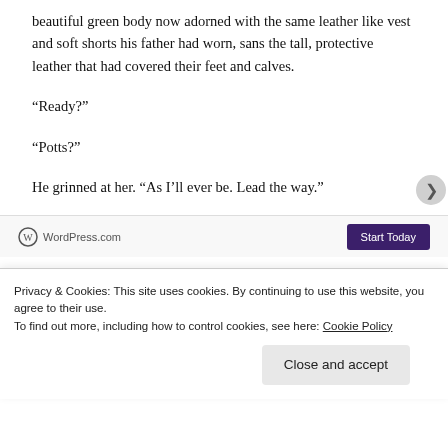beautiful green body now adorned with the same leather like vest and soft shorts his father had worn, sans the tall, protective leather that had covered their feet and calves.
“Ready?”
“Potts?”
He grinned at her. “As I’ll ever be. Lead the way.”
“Join hands,” Lucky instructed. “We approach the
Privacy & Cookies: This site uses cookies. By continuing to use this website, you agree to their use.
To find out more, including how to control cookies, see here: Cookie Policy